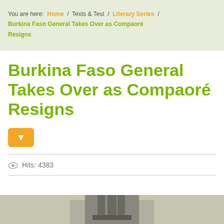You are here: Home / Texts & Test / Literary Series / Burkina Faso General Takes Over as Compaoré Resigns
Burkina Faso General Takes Over as Compaoré Resigns
[Figure (other): Orange dropdown button with white downward arrow]
Hits: 4383
[Figure (photo): Partial photograph at bottom of page, cropped, showing a person or monument]